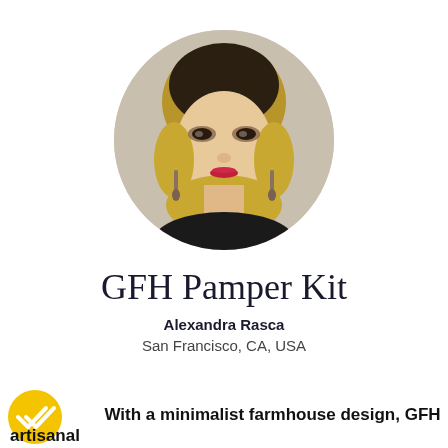[Figure (photo): Circular profile photo of a young woman with blonde hair, red lipstick, and dangling earrings, wearing a dark top, against a light background.]
GFH Pamper Kit
Alexandra Rasca
San Francisco, CA, USA
[Figure (logo): Yellow circular badge with a white double-check mark icon.]
With a minimalist farmhouse design, GFH artisanal